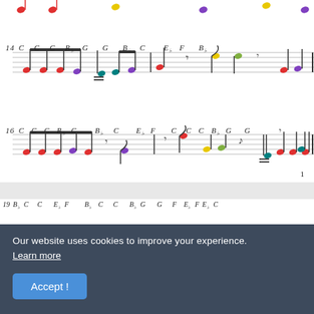[Figure (illustration): Sheet music notation rows 14 and 16 with colored note heads (red, purple, teal, gold, green, yellow) on staff lines, with chord names C, C, C, Bb, G, G, Bb, C, Eb, F, Bb above row 14 and C, C, C, Bb, C, Bb, C, Eb, F, C, C, C, Bb, G, G above row 16. Measure bars and beam groups visible.]
1
[Figure (illustration): Sheet music notation row 19 with chord names Bb, C, C, Eb, F, Bb, C, C, Bb, G, G, F, Eb, F, Eb, C above the staff and colored note heads partially visible.]
Our website uses cookies to improve your experience.
Learn more
Accept !